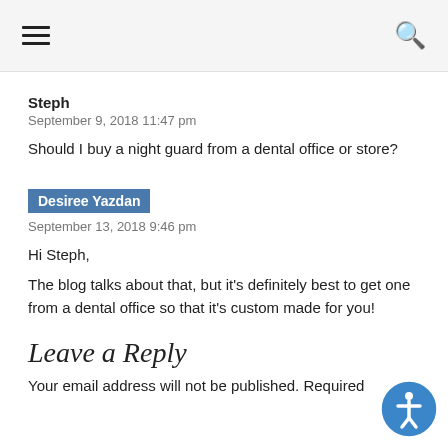Navigation header with hamburger menu and search icon
Steph
September 9, 2018 11:47 pm
Should I buy a night guard from a dental office or store?
Desiree Yazdan
September 13, 2018 9:46 pm
Hi Steph,
The blog talks about that, but it's definitely best to get one from a dental office so that it's custom made for you!
Leave a Reply
Your email address will not be published. Required